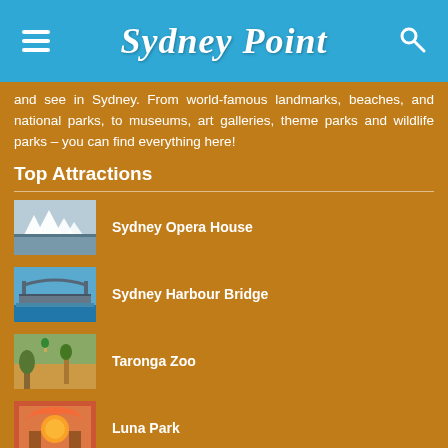Sydney Point
and see in Sydney. From world-famous landmarks, beaches, and national parks, to museums, art galleries, theme parks and wildlife parks – you can find everything here!
Top Attractions
Sydney Opera House
Sydney Harbour Bridge
Taronga Zoo
Luna Park